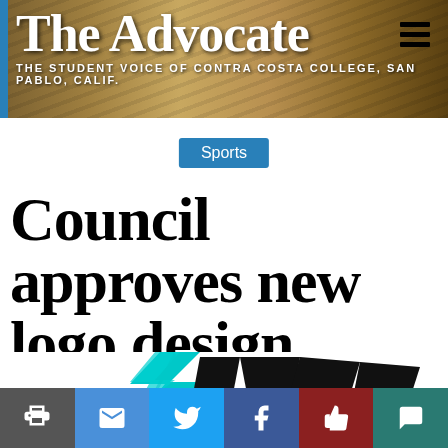[Figure (logo): The Advocate newspaper header banner with title 'The Advocate' and subtitle 'The Student Voice of Contra Costa College, San Pablo, Calif.' over a stacked newspapers background]
Sports
Council approves new logo design
[Figure (logo): Partial view of the new Contra Costa College athletics logo with teal lightning bolt and stylized lettering]
Social sharing bar with print, email, Twitter, Facebook, like, and comment buttons